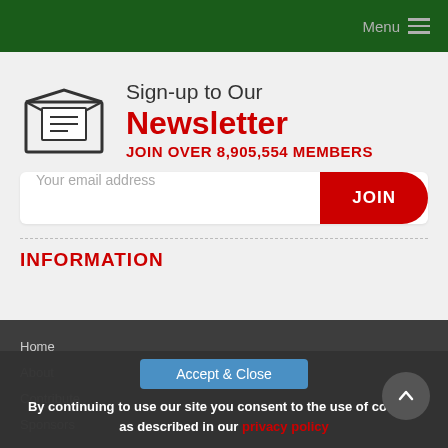Menu
Sign-up to Our
Newsletter
JOIN OVER 8,905,554 MEMBERS
Your email address
JOIN
INFORMATION
Home
About
Contribute
Sponsors
Accept & Close
By continuing to use our site you consent to the use of cookies as described in our privacy policy